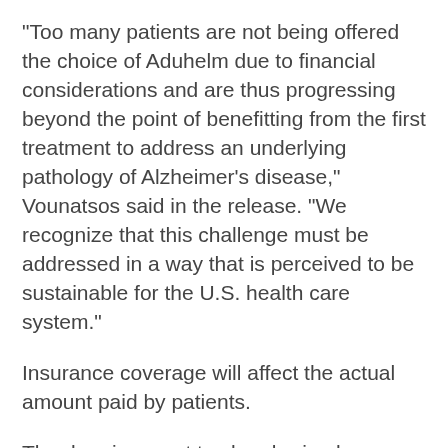"Too many patients are not being offered the choice of Aduhelm due to financial considerations and are thus progressing beyond the point of benefitting from the first treatment to address an underlying pathology of Alzheimer's disease," Vounatsos said in the release. "We recognize that this challenge must be addressed in a way that is perceived to be sustainable for the U.S. health care system."
Insurance coverage will affect the actual amount paid by patients.
The drug is meant to clear brain plaques believed to play a role in Alzheimer's, and the U.S. Food and Drug Administration approved the drug in June for patients with mild or early-stage symptoms.
However, Aduhelm's initial price has limited its use. It isn't being widely offered by medical centers and some insurers have complained about paying for it. Also, the price of Aduhelm has been